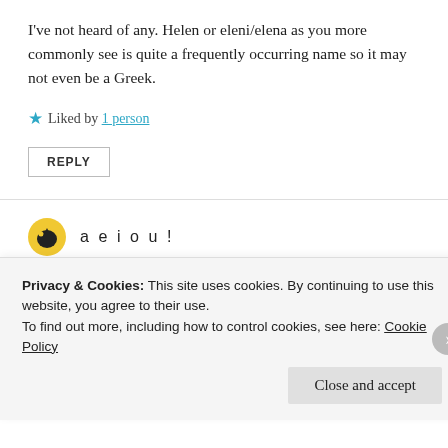I've not heard of any. Helen or eleni/elena as you more commonly see is quite a frequently occurring name so it may not even be a Greek.
Liked by 1 person
REPLY
aeiou!
May 5, 2019 at 6:40 pm
I found this information in a Wikipedia
Privacy & Cookies: This site uses cookies. By continuing to use this website, you agree to their use.
To find out more, including how to control cookies, see here: Cookie Policy
Close and accept